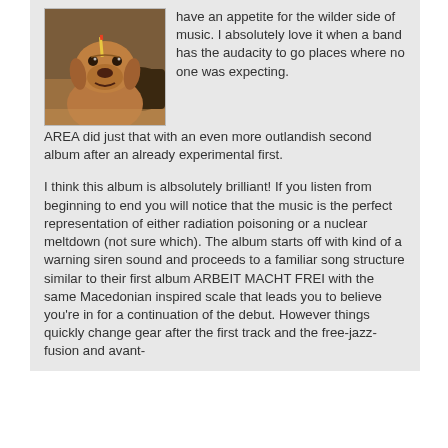[Figure (photo): Photo of a brown/tan dog with a yellow pencil or object balanced on its head, appearing to sit indoors]
have an appetite for the wilder side of music. I absolutely love it when a band has the audacity to go places where no one was expecting. AREA did just that with an even more outlandish second album after an already experimental first.
I think this album is albsolutely brilliant! If you listen from beginning to end you will notice that the music is the perfect representation of either radiation poisoning or a nuclear meltdown (not sure which). The album starts off with kind of a warning siren sound and proceeds to a familiar song structure similar to their first album ARBEIT MACHT FREI with the same Macedonian inspired scale that leads you to believe you're in for a continuation of the debut. However things quickly change gear after the first track and the free-jazz-fusion and avant-